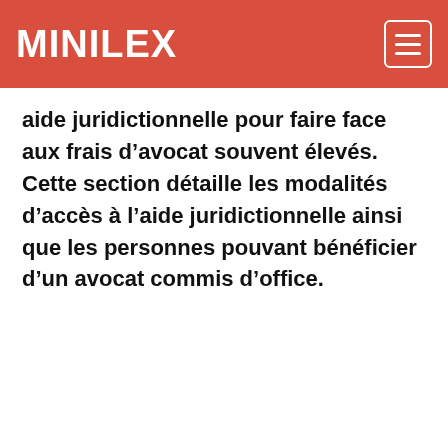MINILEX
aide juridictionnelle pour faire face aux frais d'avocat souvent élevés. Cette section détaille les modalités d'accès à l'aide juridictionnelle ainsi que les personnes pouvant bénéficier d'un avocat commis d'office.